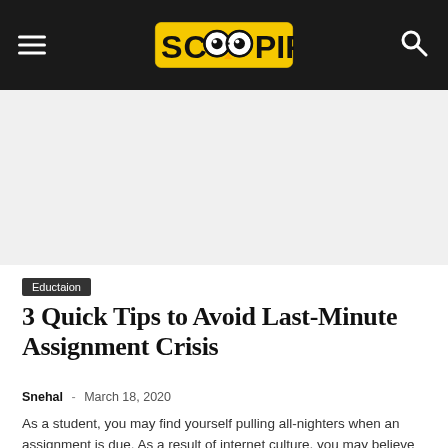SCOOPIFY
[Figure (other): Advertisement / banner area below the header navigation]
Eductaion
3 Quick Tips to Avoid Last-Minute Assignment Crisis
Snehal – March 18, 2020
As a student, you may find yourself pulling all-nighters when an assignment is due. As a result of internet culture, you may believe this…